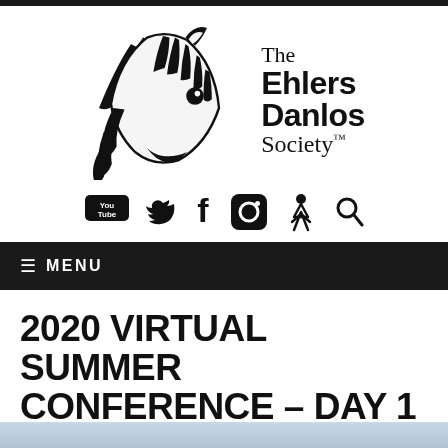[Figure (logo): The Ehlers Danlos Society logo with a stylized zebra head in black and white on the left, and the text 'The Ehlers Danlos Society.' on the right in a serif/sans-serif combination.]
[Figure (illustration): Social media icons row: YouTube, Twitter (bird), Facebook f, Instagram, a figure/person icon, and a search/magnifying glass icon, all in black on white background.]
≡ MENU
2020 VIRTUAL SUMMER CONFERENCE – DAY 1 FR
[Figure (photo): Partial strip of a photo visible at the bottom of the page, appears to show a light blue/sky scene.]